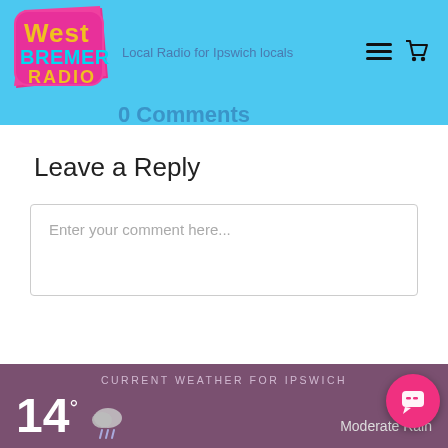[Figure (logo): West Bremer Radio logo - colorful logo with pink/magenta background shape, 'West' in yellow, 'BREMER' in cyan, 'RADIO' in yellow text]
Local Radio for Ipswich locals
0 Comments
Leave a Reply
Enter your comment here...
CURRENT WEATHER FOR IPSWICH
14°
Moderate Rain